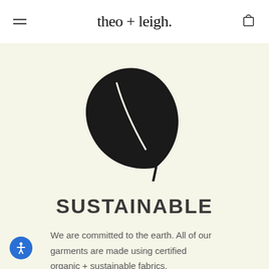theo + leigh.
[Figure (illustration): Black leaf icon/silhouette with a curved stem, centered on a cream background]
SUSTAINABLE
We are committed to the earth. All of our garments are made using certified organic + sustainable fabrics.